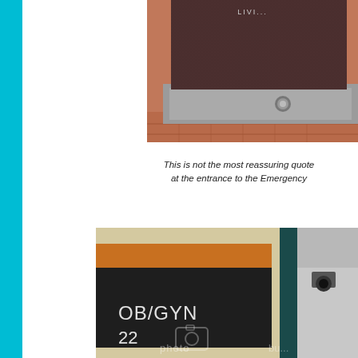[Figure (photo): Granite monument or sign at the base, with brick pavement visible, photographed at entrance area]
This is not the most reassuring quote at the entrance to the Emergency
[Figure (photo): Hospital interior sign showing OB/GYN 22 on a dark panel with orange accent, with security camera visible on the right side]